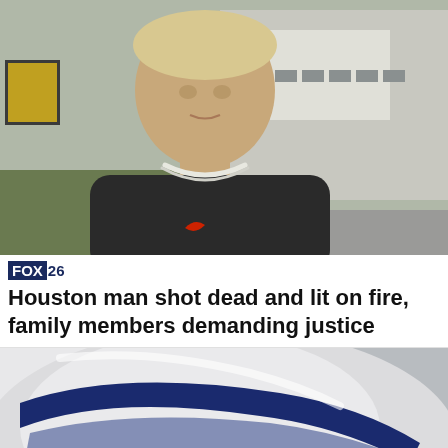[Figure (photo): Surveillance or video still image of a young man wearing a dark long-sleeve shirt with a white chain necklace, standing outdoors in front of a building with a parking area]
FOX 26
Houston man shot dead and lit on fire, family members demanding justice
[Figure (photo): Close-up image of a white and dark blue object, possibly a helmet, robotic part, or curved plastic casing with navy blue stripe/accent]